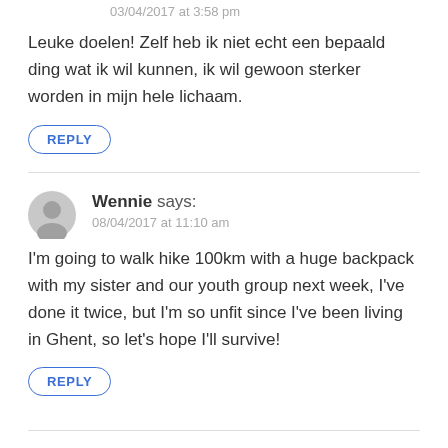03/04/2017 at 3:58 pm
Leuke doelen! Zelf heb ik niet echt een bepaald ding wat ik wil kunnen, ik wil gewoon sterker worden in mijn hele lichaam.
REPLY
Wennie says:
08/04/2017 at 11:10 am
I'm going to walk hike 100km with a huge backpack with my sister and our youth group next week, I've done it twice, but I'm so unfit since I've been living in Ghent, so let's hope I'll survive!
REPLY
Rani / iamafashioneer.com says: